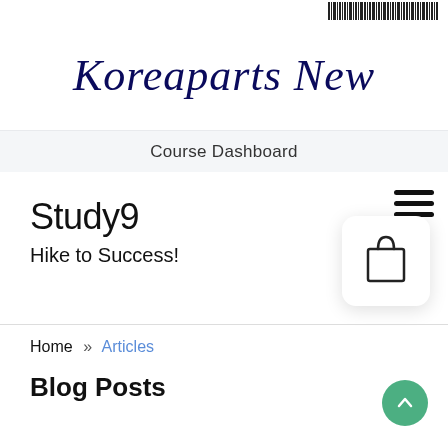[Figure (other): Barcode at top right of page]
Koreaparts New
Course Dashboard
Study9
Hike to Success!
[Figure (illustration): Hamburger menu icon (three horizontal lines) and shopping bag icon in a rounded white card]
Home » Articles
Blog Posts